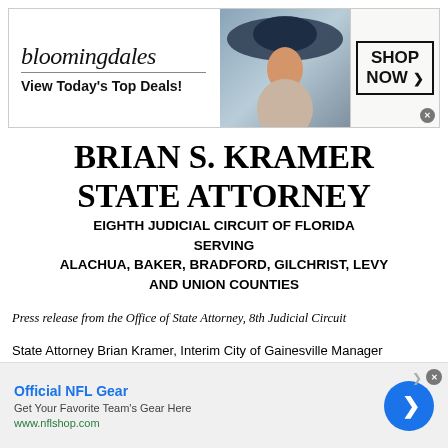[Figure (screenshot): Bloomingdale's advertisement banner: logo, 'View Today's Top Deals!', model with hat, and 'SHOP NOW >' button]
BRIAN S. KRAMER
STATE ATTORNEY
EIGHTH JUDICIAL CIRCUIT OF FLORIDA SERVING ALACHUA, BAKER, BRADFORD, GILCHRIST, LEVY AND UNION COUNTIES
Press release from the Office of State Attorney, 8th Judicial Circuit
State Attorney Brian Kramer, Interim City of Gainesville Manager Cynthia Guess, Acting Gainesville Police Chief Lonnie Scott...
[Figure (screenshot): NFL Gear advertisement: 'Official NFL Gear' title, 'Get Your Favorite Team's Gear Here', www.nflshop.com, blue circular arrow button]